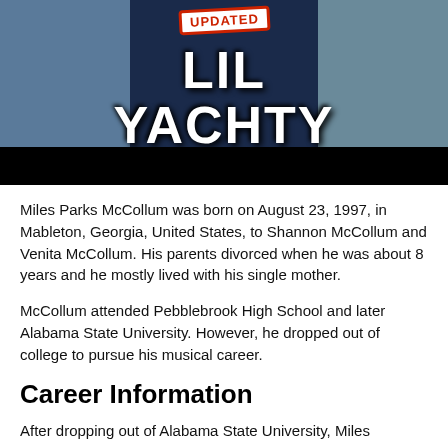[Figure (photo): Banner image with 'LIL YACHTY' text in large white letters on a dark navy background, with an 'UPDATED' badge in red, and photos of people on either side. A black bar runs along the bottom of the banner.]
Miles Parks McCollum was born on August 23, 1997, in Mableton, Georgia, United States, to Shannon McCollum and Venita McCollum. His parents divorced when he was about 8 years and he mostly lived with his single mother.
McCollum attended Pebblebrook High School and later Alabama State University. However, he dropped out of college to pursue his musical career.
Career Information
After dropping out of Alabama State University, Miles